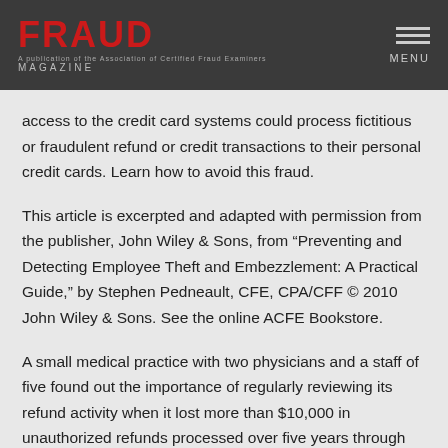FRAUD MAGAZINE — MENU
access to the credit card systems could process fictitious or fraudulent refund or credit transactions to their personal credit cards. Learn how to avoid this fraud.
This article is excerpted and adapted with permission from the publisher, John Wiley & Sons, from "Preventing and Detecting Employee Theft and Embezzlement: A Practical Guide," by Stephen Pedneault, CFE, CPA/CFF © 2010 John Wiley & Sons. See the online ACFE Bookstore.
A small medical practice with two physicians and a staff of five found out the importance of regularly reviewing its refund activity when it lost more than $10,000 in unauthorized refunds processed over five years through the practice's credit card system.